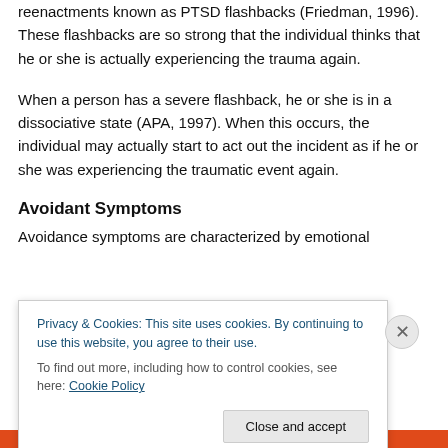reenactments known as PTSD flashbacks (Friedman, 1996). These flashbacks are so strong that the individual thinks that he or she is actually experiencing the trauma again.
When a person has a severe flashback, he or she is in a dissociative state (APA, 1997). When this occurs, the individual may actually start to act out the incident as if he or she was experiencing the traumatic event again.
Avoidant Symptoms
Avoidance symptoms are characterized by emotional
Privacy & Cookies: This site uses cookies. By continuing to use this website, you agree to their use.
To find out more, including how to control cookies, see here: Cookie Policy